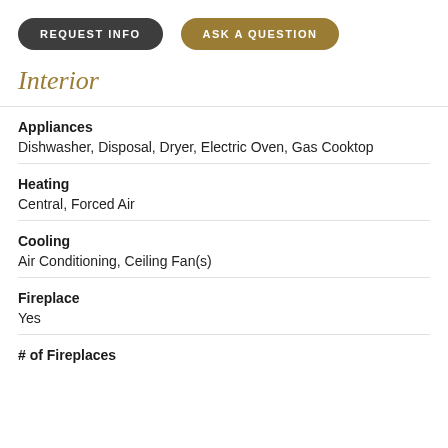[Figure (other): Two buttons: REQUEST INFO (dark grey pill) and ASK A QUESTION (gold/brown pill)]
Interior
Appliances
Dishwasher, Disposal, Dryer, Electric Oven, Gas Cooktop
Heating
Central, Forced Air
Cooling
Air Conditioning, Ceiling Fan(s)
Fireplace
Yes
# of Fireplaces